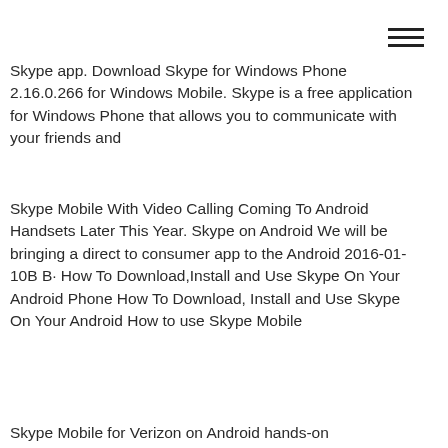hamburger menu icon
Skype app. Download Skype for Windows Phone 2.16.0.266 for Windows Mobile. Skype is a free application for Windows Phone that allows you to communicate with your friends and
Skype Mobile With Video Calling Coming To Android Handsets Later This Year. Skype on Android We will be bringing a direct to consumer app to the Android 2016-01-10B B· How To Download,Install and Use Skype On Your Android Phone How To Download, Install and Use Skype On Your Android How to use Skype Mobile
Skype Mobile for Verizon on Android hands-on